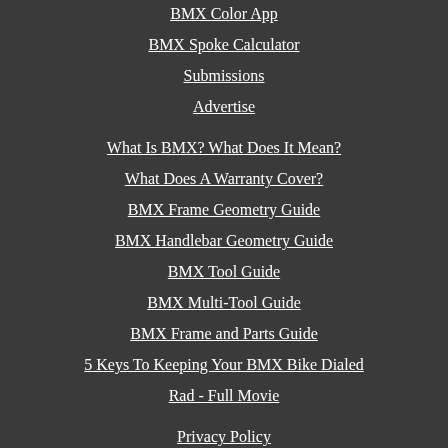BMX Color App
BMX Spoke Calculator
Submissions
Advertise
What Is BMX? What Does It Mean?
What Does A Warranty Cover?
BMX Frame Geometry Guide
BMX Handlebar Geometry Guide
BMX Tool Guide
BMX Multi-Tool Guide
BMX Frame and Parts Guide
5 Keys To Keeping Your BMX Bike Dialed
Rad - Full Movie
Privacy Policy
Affiliate Disclosure